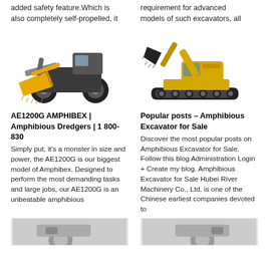added safety feature.Which is also completely self-propelled, it
requirement for advanced models of such excavators, all
[Figure (photo): Yellow and grey wheeled loader/backhoe construction machine with a large bucket attachment, facing right]
[Figure (photo): Yellow tracked excavator with extended arm and bucket, facing left, on white background]
AE1200G AMPHIBEX | Amphibious Dredgers | 1 800-830
Simply put, it's a monster in size and power, the AE1200G is our biggest model of Amphibex. Designed to perform the most demanding tasks and large jobs, our AE1200G is an unbeatable amphibious
Popular posts – Amphibious Excavator for Sale
Discover the most popular posts on Amphibious Excavator for Sale. Follow this blog Administration Login + Create my blog. Amphibious Excavator for Sale Hubei River Machinery Co., Ltd. is one of the Chinese earliest companies devoted to
[Figure (photo): Partial view of a construction machine, bottom left corner]
[Figure (photo): Partial view of a construction machine, bottom right corner]